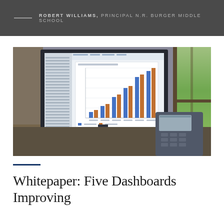ROBERT WILLIAMS, PRINCIPAL N.R. BURGER MIDDLE SCHOOL
[Figure (photo): Photo of a computer monitor displaying a spreadsheet with a grouped bar chart (blue and orange bars), with a desk phone visible on the right side and a window with greenery in the background.]
Whitepaper: Five Dashboards Improving